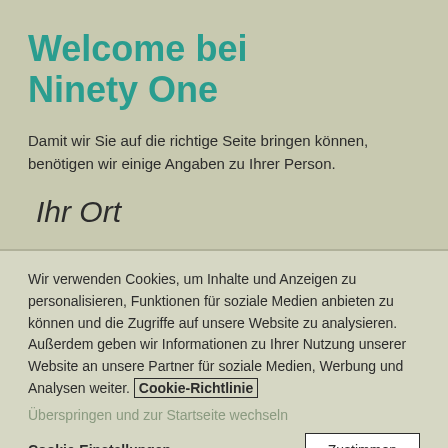Welcome bei Ninety One
Damit wir Sie auf die richtige Seite bringen können, benötigen wir einige Angaben zu Ihrer Person.
Ihr Ort
Wir verwenden Cookies, um Inhalte und Anzeigen zu personalisieren, Funktionen für soziale Medien anbieten zu können und die Zugriffe auf unsere Website zu analysieren. Außerdem geben wir Informationen zu Ihrer Nutzung unserer Website an unsere Partner für soziale Medien, Werbung und Analysen weiter. Cookie-Richtlinie
Überspringen und zur Startseite wechseln
Cookie-Einstellungen
Zustimmen